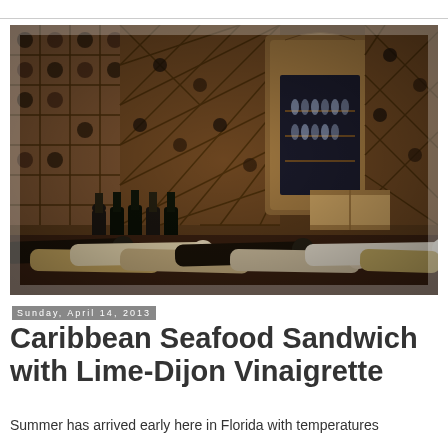[Figure (photo): A wine cellar interior with wooden wine racks holding numerous bottles, a decorative wooden cabinet with glassware, and wine bottles displayed in the foreground on racks.]
Sunday, April 14, 2013
Caribbean Seafood Sandwich with Lime-Dijon Vinaigrette
Summer has arrived early here in Florida with temperatures